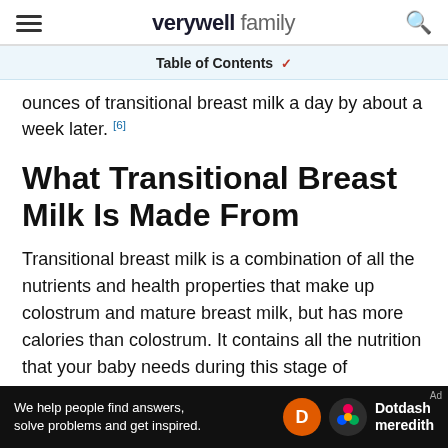verywell family
Table of Contents
ounces of transitional breast milk a day by about a week later. [6]
What Transitional Breast Milk Is Made From
Transitional breast milk is a combination of all the nutrients and health properties that make up colostrum and mature breast milk, but has more calories than colostrum. It contains all the nutrition that your baby needs during this stage of development. [1]
[Figure (other): Advertisement banner for Dotdash Meredith with text: We help people find answers, solve problems and get inspired.]